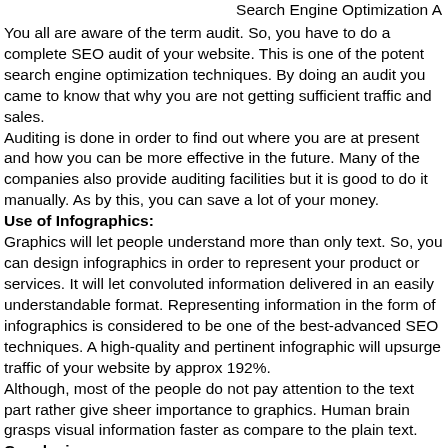Search Engine Optimization A
You all are aware of the term audit. So, you have to do a complete SEO audit of your website. This is one of the potent search engine optimization techniques. By doing an audit you came to know that why you are not getting sufficient traffic and sales.
Auditing is done in order to find out where you are at present and how you can be more effective in the future. Many of the companies also provide auditing facilities but it is good to do it manually. As by this, you can save a lot of your money.
Use of Infographics:
Graphics will let people understand more than only text. So, you can design infographics in order to represent your product or services. It will let convoluted information delivered in an easily understandable format. Representing information in the form of infographics is considered to be one of the best-advanced SEO techniques. A high-quality and pertinent infographic will upsurge traffic of your website by approx 192%.
Although, most of the people do not pay attention to the text part rather give sheer importance to graphics. Human brain grasps visual information faster as compare to the plain text.
Conclusion:
Here I have listed some of the best search engine